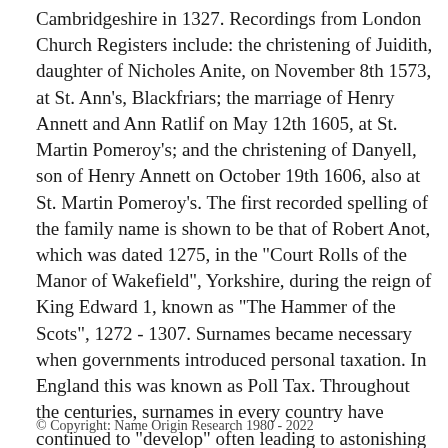Cambridgeshire in 1327. Recordings from London Church Registers include: the christening of Juidith, daughter of Nicholes Anite, on November 8th 1573, at St. Ann's, Blackfriars; the marriage of Henry Annett and Ann Ratlif on May 12th 1605, at St. Martin Pomeroy's; and the christening of Danyell, son of Henry Annett on October 19th 1606, also at St. Martin Pomeroy's. The first recorded spelling of the family name is shown to be that of Robert Anot, which was dated 1275, in the "Court Rolls of the Manor of Wakefield", Yorkshire, during the reign of King Edward 1, known as "The Hammer of the Scots", 1272 - 1307. Surnames became necessary when governments introduced personal taxation. In England this was known as Poll Tax. Throughout the centuries, surnames in every country have continued to "develop" often leading to astonishing variants of the original spelling.
© Copyright: Name Origin Research 1980 - 2022